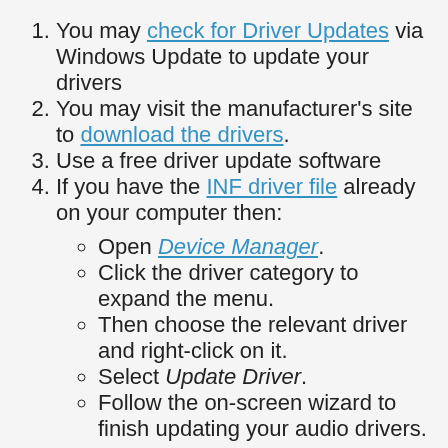You may check for Driver Updates via Windows Update to update your drivers
You may visit the manufacturer's site to download the drivers.
Use a free driver update software
If you have the INF driver file already on your computer then:
Open Device Manager.
Click the driver category to expand the menu.
Then choose the relevant driver and right-click on it.
Select Update Driver.
Follow the on-screen wizard to finish updating your audio drivers.